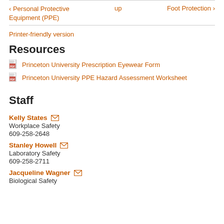‹ Personal Protective Equipment (PPE)   up   Foot Protection ›
Printer-friendly version
Resources
Princeton University Prescription Eyewear Form
Princeton University PPE Hazard Assessment Worksheet
Staff
Kelly States
Workplace Safety
609-258-2648
Stanley Howell
Laboratory Safety
609-258-2711
Jacqueline Wagner
Biological Safety